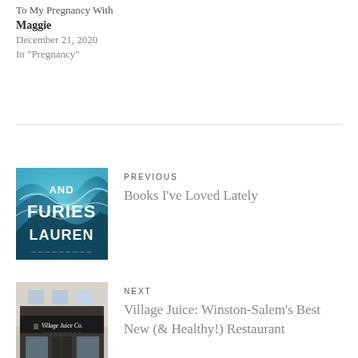To My Pregnancy With
Maggie
December 21, 2020
In "Pregnancy"
PREVIOUS
Books I've Loved Lately
NEXT
Village Juice: Winston-Salem's Best New (& Healthy!) Restaurant